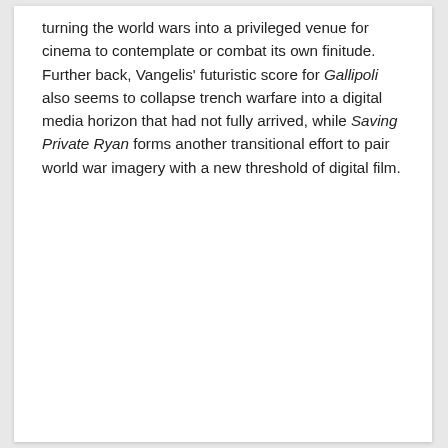turning the world wars into a privileged venue for cinema to contemplate or combat its own finitude. Further back, Vangelis' futuristic score for Gallipoli also seems to collapse trench warfare into a digital media horizon that had not fully arrived, while Saving Private Ryan forms another transitional effort to pair world war imagery with a new threshold of digital film.